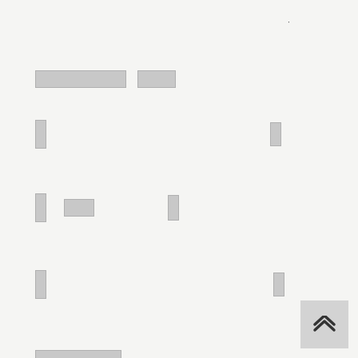[REDACTED HEADING]
[redacted item]
[redacted item]
[redacted item]
[REDACTED HEADING]
[redacted item]
[redacted item]
[redacted item]
[REDACTED HEADING]
[redacted item]